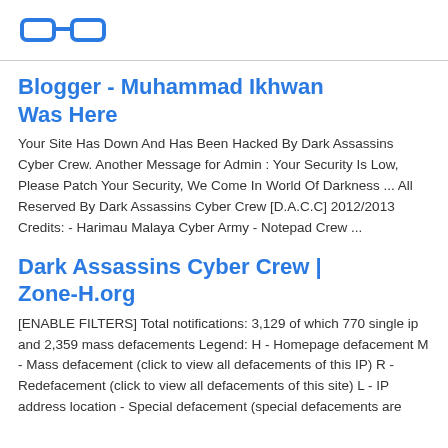[logo: eyeglasses/reader icon]
Blogger - Muhammad Ikhwan Was Here
Your Site Has Down And Has Been Hacked By Dark Assassins Cyber Crew. Another Message for Admin : Your Security Is Low, Please Patch Your Security, We Come In World Of Darkness ... All Reserved By Dark Assassins Cyber Crew [D.A.C.C] 2012/2013 Credits: - Harimau Malaya Cyber Army - Notepad Crew ...
Dark Assassins Cyber Crew | Zone-H.org
[ENABLE FILTERS] Total notifications: 3,129 of which 770 single ip and 2,359 mass defacements Legend: H - Homepage defacement M - Mass defacement (click to view all defacements of this IP) R - Redefacement (click to view all defacements of this site) L - IP address location - Special defacement (special defacements are